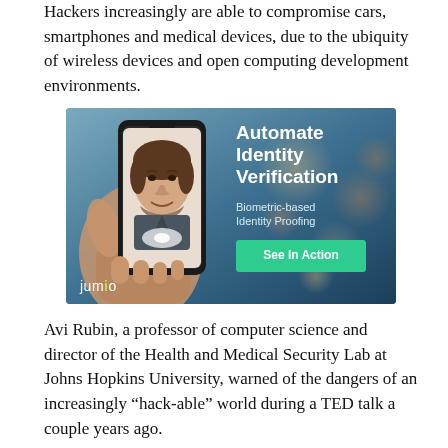Hackers increasingly are able to compromise cars, smartphones and medical devices, due to the ubiquity of wireless devices and open computing development environments.
[Figure (illustration): Advertisement for Jumio identity verification service. Shows a hand holding a smartphone displaying a man's face, with overlay text reading 'Automate Identity Verification', 'Biometric-based Identity Proofing', a green 'See In Action' button, and the Jumio logo.]
Avi Rubin, a professor of computer science and director of the Health and Medical Security Lab at Johns Hopkins University, warned of the dangers of an increasingly “hack-able” world during a TED talk a couple years ago.